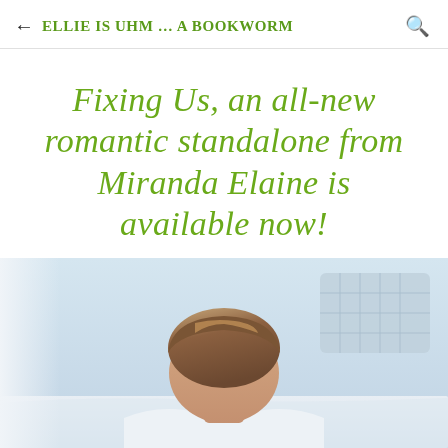← Ellie Is Uhm ... A Bookworm
Fixing Us, an all-new romantic standalone from Miranda Elaine is available now!
[Figure (photo): Photo of a man with brown hair looking down, lying on or near white bedding with a patterned cushion visible in the background. Soft, light-toned lifestyle photography.]